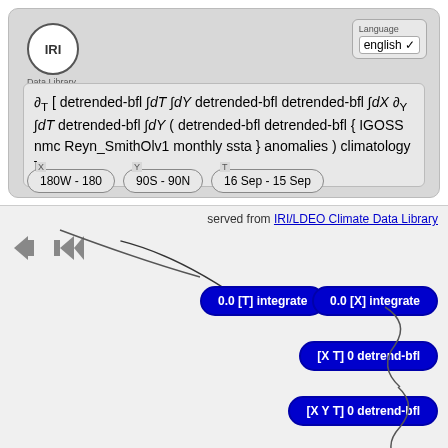[Figure (screenshot): IRI Data Library web interface showing a climate data expression with detrended-bfl integration operations and coordinate selectors for longitude, latitude, and time ranges.]
served from IRI/LDEO Climate Data Library
0.0 [T] integrate
[Y] partial
0.0 [X] integrate
[X T] 0 detrend-bfl
[X Y T] 0 detrend-bfl
0.0 [Y] integrate
0.0 [T] integrate
[Y] 0 detrend-bfl